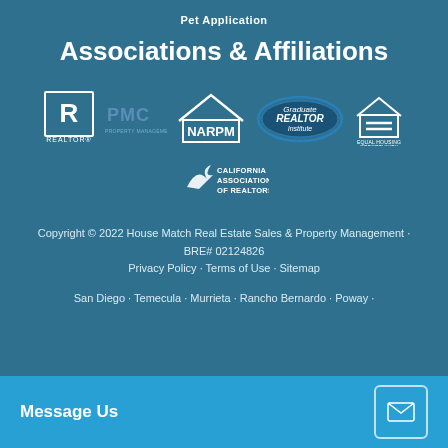Pet Application
Associations & Affiliations
[Figure (logo): Association and affiliation logos: REALTOR, PMC Property Management Certification, NARPM, Graduate REALTOR Institute, Equal Housing Opportunity, California Association of Realtors]
Copyright © 2022 House Match Real Estate Sales & Property Management · BRE# 02124826
Privacy Policy · Terms of Use · Sitemap
San Diego · Temecula · Murrieta · Rancho Bernardo · Poway ·
Message Us